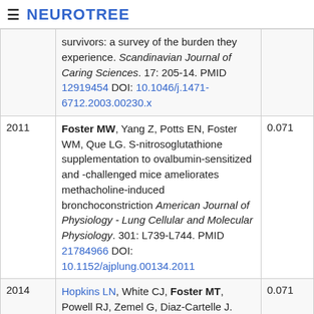≡ NEUROTREE
| Year | Reference | Score |
| --- | --- | --- |
|  | survivors: a survey of the burden they experience. Scandinavian Journal of Caring Sciences. 17: 205-14. PMID 12919454 DOI: 10.1046/j.1471-6712.2003.00230.x |  |
| 2011 | Foster MW, Yang Z, Potts EN, Foster WM, Que LG. S-nitrosoglutathione supplementation to ovalbumin-sensitized and -challenged mice ameliorates methacholine-induced bronchoconstriction American Journal of Physiology - Lung Cellular and Molecular Physiology. 301: L739-L744. PMID 21784966 DOI: 10.1152/ajplung.00134.2011 | 0.071 |
| 2014 | Hopkins LN, White CJ, Foster MT, Powell RJ, Zemel G, Diaz-Cartelle J. Carotid artery stenting and patient outcomes: the CABANA surveillance study. Catheterization and Cardiovascular Interventions : Official Journal of the Society For Cardiac Angiography & Interventions. 84: 997-1004. PMID 24040969 DOI: 10.1002/... | 0.071 |